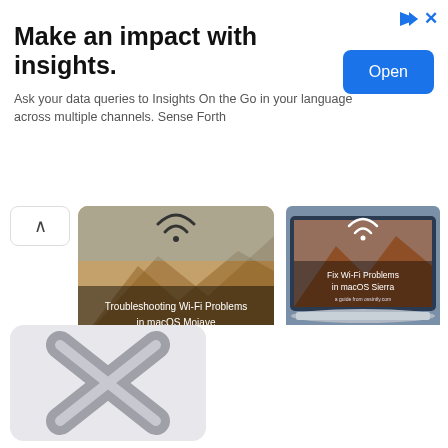[Figure (screenshot): Advertisement banner: Make an impact with insights. Ask your data queries to Insights On the Go in your language across multiple channels. Sense Forth. Open button.]
[Figure (screenshot): Thumbnail image for 'Troubleshooting Wi-Fi Problems in macOS Mojave' article showing desert landscape with Wi-Fi icon]
How to Troubleshoot & Fix MacOS Mojave Wi-Fi Issues
[Figure (screenshot): Thumbnail image for 'Fix Wi-Fi Problems in macOS Sierra' showing laptop with mountain background and Wi-Fi icon]
Fix Wi-Fi Problems in macOS Sierra
[Figure (screenshot): Thumbnail image for 'Fix Wi-Fi Problems in OS X Yosemite' showing OS X logo X on grey background]
Fix Wi-Fi Problems in OS X Yosemite